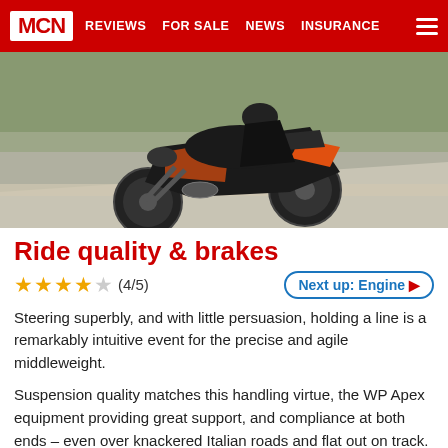MCN | REVIEWS | FOR SALE | NEWS | INSURANCE
[Figure (photo): KTM motorcycle (black and orange) leaning into a corner on a road, side view action shot]
Ride quality & brakes
★★★★☆ (4/5)   Next up: Engine
Steering superbly, and with little persuasion, holding a line is a remarkably intuitive event for the precise and agile middleweight.
Suspension quality matches this handling virtue, the WP Apex equipment providing great support, and compliance at both ends – even over knackered Italian roads and flat out on track. Tweaking is easy thanks to accessible adjusters, which lets you fine tune the ride to suit you best.